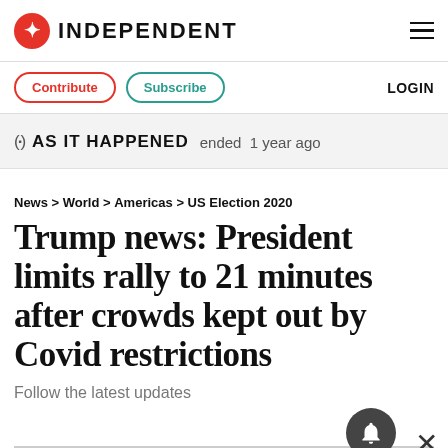INDEPENDENT
Contribute  Subscribe  LOGIN
AS IT HAPPENED  ended 1 year ago
News > World > Americas > US Election 2020
Trump news: President limits rally to 21 minutes after crowds kept out by Covid restrictions
Follow the latest updates